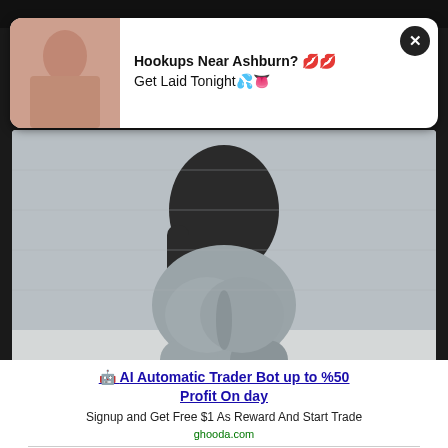[Figure (photo): Popup advertisement overlay with thumbnail image on left and text 'Hookups Near Ashburn? Get Laid Tonight' with emoji, white card with close button, overlaying main background photo of person in grey leggings]
[Figure (photo): Main background photo of a person wearing grey leggings viewed from behind, standing near a concrete wall]
"
🤖 AI Automatic Trader Bot up to %50 Profit On day
Signup and Get Free $1 As Reward And Start Trade
ghooda.com
Utopia Blockchain
features anonymous transactions with no